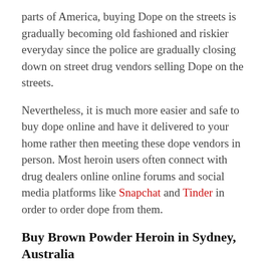parts of America, buying Dope on the streets is gradually becoming old fashioned and riskier everyday since the police are gradually closing down on street drug vendors selling Dope on the streets.
Nevertheless, it is much more easier and safe to buy dope online and have it delivered to your home rather then meeting these dope vendors in person. Most heroin users often connect with drug dealers online online forums and social media platforms like Snapchat and Tinder in order to order dope from them.
Buy Brown Powder Heroin in Sydney, Australia
The most discreet and safest wat to order dope online is through dark markets on the Tor network. All you need to do is to buy a VPN, download and access tor, visit some top markets and search for reliable dope vendors.